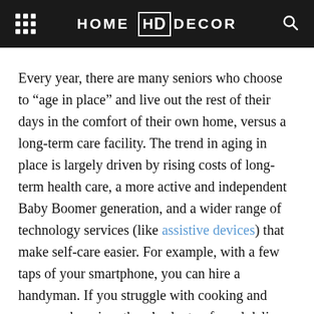HOME HD DECOR
Every year, there are many seniors who choose to “age in place” and live out the rest of their days in the comfort of their own home, versus a long-term care facility. The trend in aging in place is largely driven by rising costs of long-term health care, a more active and independent Baby Boomer generation, and a wider range of technology services (like assistive devices) that make self-care easier. For example, with a few taps of your smartphone, you can hire a handyman. If you struggle with cooking and grocery shopping, there’s plenty of meal delivery service kits. If you or a loved one plans to age in place, here are a few tips for a